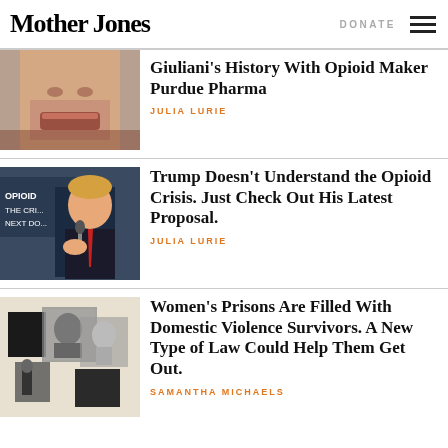Mother Jones | DONATE
[Figure (photo): Close-up photo of a man's lower face (Giuliani)]
Giuliani's History With Opioid Maker Purdue Pharma
JULIA LURIE
[Figure (photo): Photo of Donald Trump speaking at a podium with opioid crisis signage in the background]
Trump Doesn't Understand the Opioid Crisis. Just Check Out His Latest Proposal.
JULIA LURIE
[Figure (photo): Collage of black and white photos of women on a beige background]
Women's Prisons Are Filled With Domestic Violence Survivors. A New Type of Law Could Help Them Get Out.
SAMANTHA MICHAELS